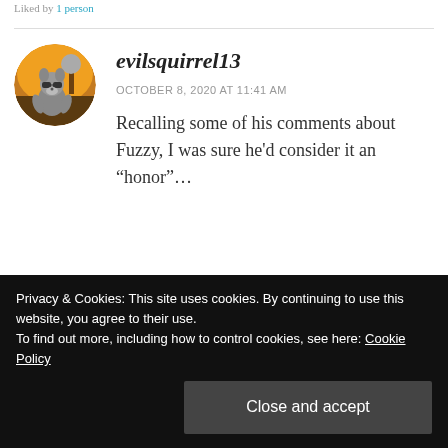Liked by 1 person
[Figure (illustration): Circular avatar of evilsquirrel13 showing a cartoon squirrel character with sunglasses against an orange and brown background with a tree]
evilsquirrel13
OCTOBER 8, 2020 AT 11:41 AM
Recalling some of his comments about Fuzzy, I was sure he'd consider it an “honor”…
★ Liked by 1 person
Privacy & Cookies: This site uses cookies. By continuing to use this website, you agree to their use.
To find out more, including how to control cookies, see here: Cookie Policy
Close and accept